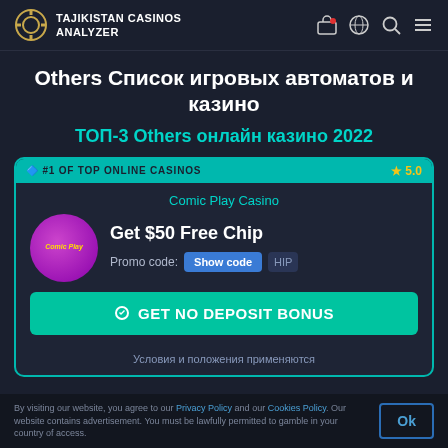TAJIKISTAN CASINOS ANALYZER
Others Список игровых автоматов и казино
ТОП-3 Others онлайн казино 2022
[Figure (infographic): Casino card for Comic Play Casino showing #1 of top online casinos badge, rating 5.0, Get $50 Free Chip bonus, promo code Show code button, and GET NO DEPOSIT BONUS CTA button]
Условия и положения применяются
By visiting our website, you agree to our Privacy Policy and our Cookies Policy. Our website contains advertisement. You must be lawfully permitted to gamble in your country of access.